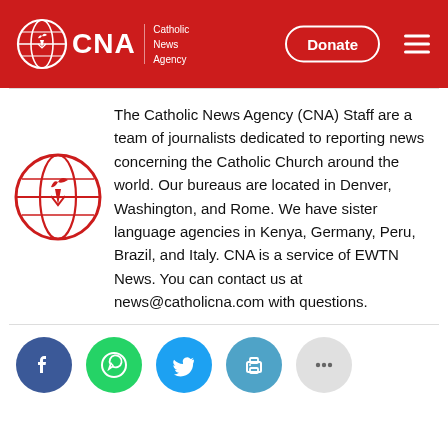CNA | Catholic News Agency — Donate
[Figure (logo): CNA Catholic News Agency globe logo with text and Donate button and hamburger menu on red header]
The Catholic News Agency (CNA) Staff are a team of journalists dedicated to reporting news concerning the Catholic Church around the world. Our bureaus are located in Denver, Washington, and Rome. We have sister language agencies in Kenya, Germany, Peru, Brazil, and Italy. CNA is a service of EWTN News. You can contact us at news@catholicna.com with questions.
[Figure (logo): CNA red globe logo]
[Figure (infographic): Social media sharing icons: Facebook, WhatsApp, Twitter, Print, More (ellipsis)]